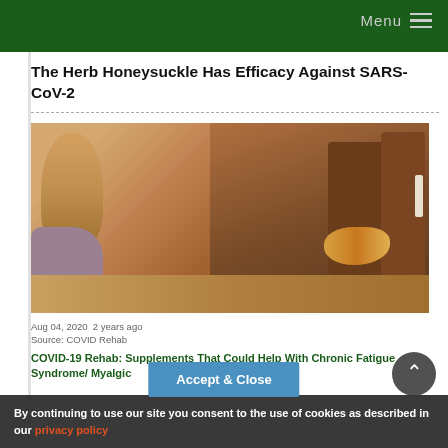Menu
The Herb Honeysuckle Has Efficacy Against SARS-CoV-2
[Figure (photo): A woman holding her head in her hand resting on a table, with amber pill bottles and scattered supplements/pills nearby on a wooden surface.]
Aug 04, 2020  2 years ago
Source: COVID Rehab
COVID-19 Rehab: Supplements That Could Help With Chronic Fatigue Syndrome/ Myalgic Encephalomyelitis Manifestations (Results...
By continuing to use our site you consent to the use of cookies as described in our privacy policy